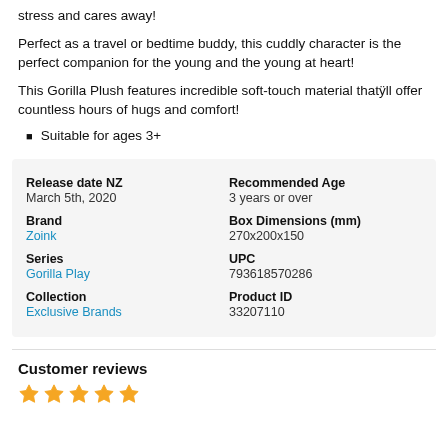stress and cares away!
Perfect as a travel or bedtime buddy, this cuddly character is the perfect companion for the young and the young at heart!
This Gorilla Plush features incredible soft-touch material thatÿll offer countless hours of hugs and comfort!
Suitable for ages 3+
| Release date NZ | Recommended Age | Brand | Box Dimensions (mm) | Series | UPC | Collection | Product ID |
| --- | --- | --- | --- | --- | --- | --- | --- |
| March 5th, 2020 | 3 years or over |
| Zoink | 270x200x150 |
| Gorilla Play | 793618570286 |
| Exclusive Brands | 33207110 |
Customer reviews
[Figure (other): Five gold star rating icons]